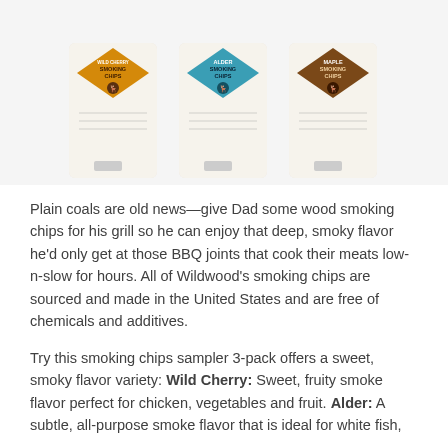[Figure (photo): Three bags of Wildwood smoking chips side by side: Wild Cherry (orange label), Alder (teal/blue label), and Maple (brown label).]
Plain coals are old news—give Dad some wood smoking chips for his grill so he can enjoy that deep, smoky flavor he'd only get at those BBQ joints that cook their meats low-n-slow for hours. All of Wildwood's smoking chips are sourced and made in the United States and are free of chemicals and additives.
Try this smoking chips sampler 3-pack offers a sweet, smoky flavor variety: Wild Cherry: Sweet, fruity smoke flavor perfect for chicken, vegetables and fruit. Alder: A subtle, all-purpose smoke flavor that is ideal for white fish,